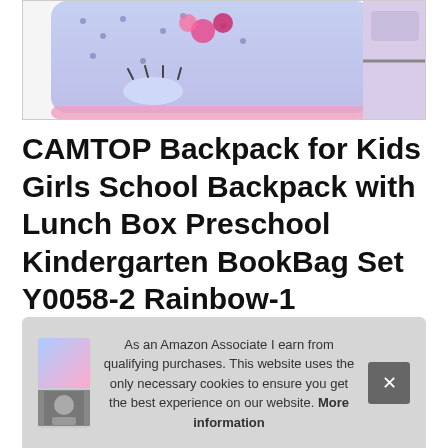[Figure (photo): Partial view of a unicorn-themed children's backpack and lunch box in pink/purple colors with floral decorations and eyelash design]
CAMTOP Backpack for Kids Girls School Backpack with Lunch Box Preschool Kindergarten BookBag Set Y0058-2 Rainbow-1
#ad
As an Amazon Associate I earn from qualifying purchases. This website uses the only necessary cookies to ensure you get the best experience on our website. More information